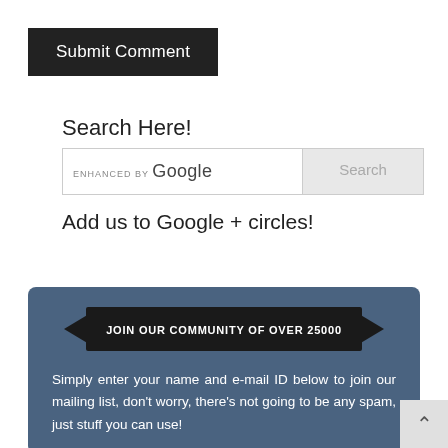Submit Comment
Search Here!
[Figure (screenshot): Google search bar with 'ENHANCED BY Google' label and 'Search' button]
Add us to Google + circles!
[Figure (infographic): Dark blue community signup box with ribbon banner reading 'JOIN OUR COMMUNITY OF OVER 25000' and text below: 'Simply enter your name and e-mail ID below to join our mailing list, don't worry, there's not going to be any spam, just stuff you can use!']